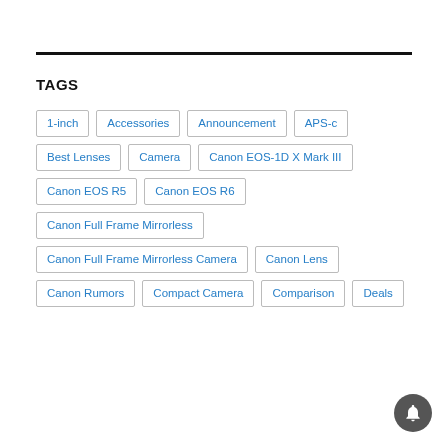TAGS
1-inch
Accessories
Announcement
APS-c
Best Lenses
Camera
Canon EOS-1D X Mark III
Canon EOS R5
Canon EOS R6
Canon Full Frame Mirrorless
Canon Full Frame Mirrorless Camera
Canon Lens
Canon Rumors
Compact Camera
Comparison
Deals